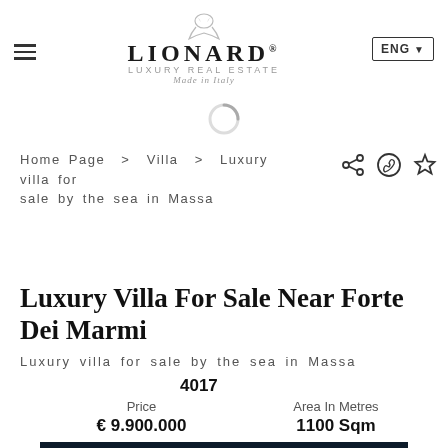[Figure (logo): Lionard Luxury Real Estate logo with eagle illustration, text 'LIONARD', 'LUXURY REAL ESTATE', 'Made in Italy']
Home Page > Villa > Luxury villa for sale by the sea in Massa
REQUEST LIVE TOUR
Luxury Villa For Sale Near Forte Dei Marmi
Luxury villa for sale by the sea in Massa
4017
| Price | Area In Metres |
| --- | --- |
| € 9.900.000 | 1100 Sqm |